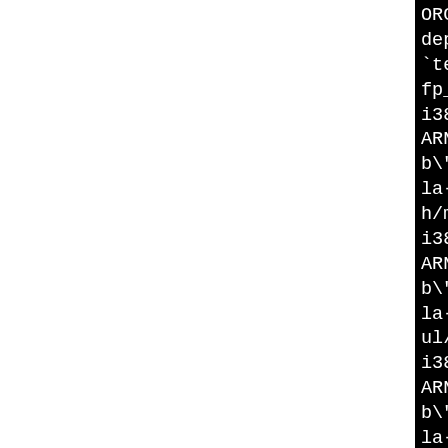[Figure (screenshot): Terminal/build output showing compiler commands for libclamav with i386-pld-linux-gcc, including flags like -DHAVE_, -D_LARGEFILE64_SOURCE, -I/usr/inc, -O2 -march=i386 -D_LAR, and references to tomsfastmath multiplication source files (fp_mul_comba_17.c, fp_mul_2d.lo, fp_mul_2.lo, fp_mul_2d.lo, fp_mul_comba_12.lo). White text on black background, partially cropped on the right side.]